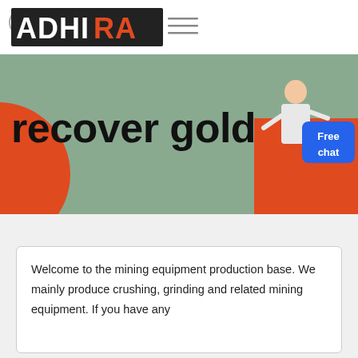[Figure (screenshot): ADHIRA brand logo with white ADHI text and red RA text, plus hamburger menu lines on a white nav bar with a circular outline icon]
[Figure (illustration): Website hero banner with sage green background, large red circle on the left, bold text 'recover gold.' with orange-red dot, a person illustration pointing, a blue 'Free chat' button, and a red rectangle in the bottom-right corner]
Welcome to the mining equipment production base. We mainly produce crushing, grinding and related mining equipment. If you have any